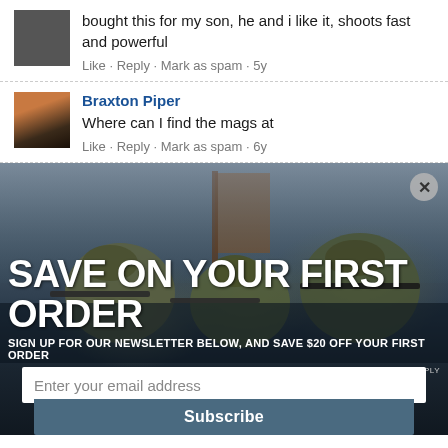bought this for my son, he and i like it, shoots fast and powerful
Like · Reply · Mark as spam · 5y
Braxton Piper
Where can I find the mags at
Like · Reply · Mark as spam · 6y
[Figure (photo): Advertisement banner showing soldiers in tactical gear aiming rifles, with overlay text 'SAVE ON YOUR FIRST ORDER', subtitle 'SIGN UP FOR OUR NEWSLETTER BELOW, AND SAVE $20 OFF YOUR FIRST ORDER', exclusions note, email input field, and Subscribe button.]